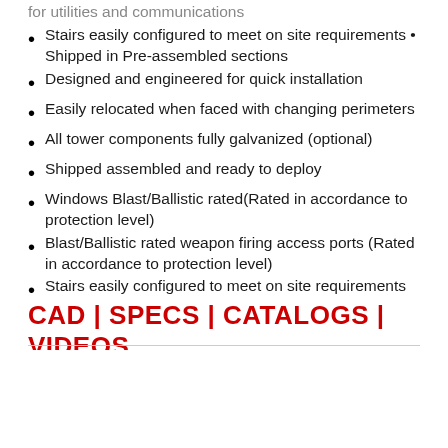for utilities and communications
Stairs easily configured to meet on site requirements • Shipped in Pre-assembled sections
Designed and engineered for quick installation
Easily relocated when faced with changing perimeters
All tower components fully galvanized (optional)
Shipped assembled and ready to deploy
Windows Blast/Ballistic rated(Rated in accordance to protection level)
Blast/Ballistic rated weapon firing access ports (Rated in accordance to protection level)
Stairs easily configured to meet on site requirements
CAD | SPECS | CATALOGS | VIDEOS
All data & files